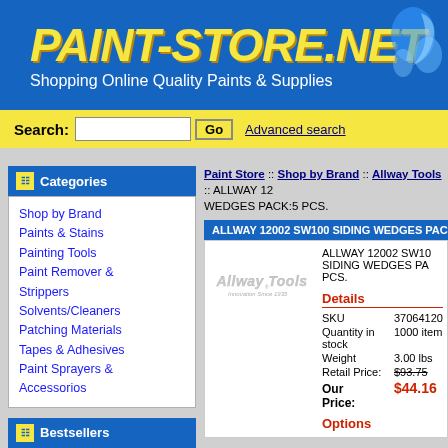PAINT-STORE.NET — Shopping Online Quality Paints & Supplies
Search: [input] Go  Advanced search
Categories
Shop by Brand
Paints & Stains
Painting Tools
Paint Remover & Strippers
Solvents/Cleaners
Patching Materials
Tapes & Adhesives
Paint Sprayers & Accessorios
Bestsellers
1. ALLWAY 06530 CBS10 1" SOFT GRIP CARBIDE SCRAPER PACK:5 PCS.
2. ALLWAY FBH EXTENSION
Paint Store :: Shop by Brand :: Allway Tools :: ALLWAY 12002 SW100 SIDING WEDGES PACK:5 PCS.
ALLWAY 12002 SW100 SIDING WEDGES PACK:5 PCS.
[Figure (logo): Allway Tools logo with text 'Innovation Since 1935']
ALLWAY 12002 SW100 SIDING WEDGES PACK:5 PCS.
Details
| Field | Value |
| --- | --- |
| SKU | 37064120... |
| Quantity in stock | 1000 item... |
| Weight | 3.00 lbs |
| Retail Price: | $93.75 |
| Our Price: | $44.16 |
Options